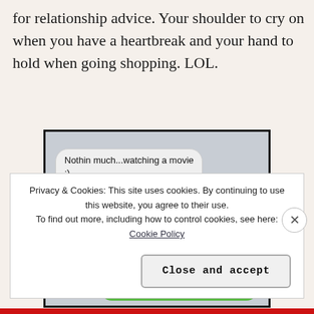for relationship advice. Your shoulder to cry on when you have a heartbreak and your hand to hold when going shopping. LOL.
[Figure (screenshot): SMS/text message conversation screenshot showing bubbles: 'Nothin much...watching a movie :)' (left/grey), 'Fun. which one?' (right/green), '...Ps, I love you (:' (left/grey), '?? ...lisa, I've liked you for a while now...I was always scared you didn't' (right/green, partially cut off)]
Privacy & Cookies: This site uses cookies. By continuing to use this website, you agree to their use.
To find out more, including how to control cookies, see here: Cookie Policy
Close and accept